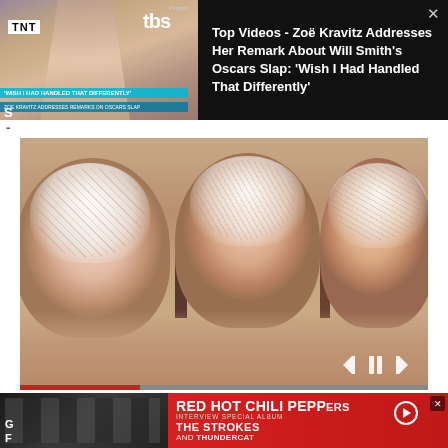[Figure (screenshot): Video thumbnail showing Zoë Kravitz at TNT/TBS event with lower-third text overlay reading 'WISH I HAD HANDLED THAT DIFFERENTLY' and 'ZOE KRAVITZ ADDRESSES REMARKS ON OSCARS SLAP']
Top Videos - Zoë Kravitz Addresses Her Remark About Will Smith's Oscars Slap: 'Wish I Had Handled That Differently'
[Figure (photo): Close-up photo of toes with fungal nail condition showing white cream/treatment applied to toenails, video player controls visible at bottom]
[Figure (screenshot): Advertisement banner for Red Hot Chili Peppers with text 'THE STROKES and THUNDERCAT', dark background with band imagery on left side]